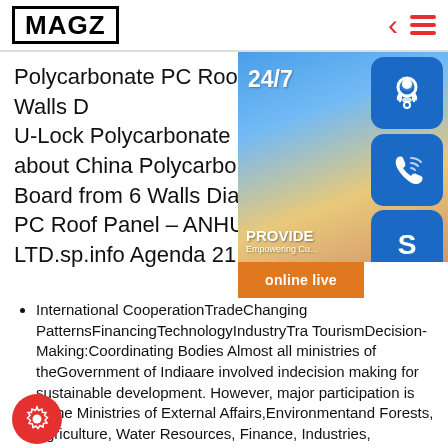MAGZ
Polycarbonate PC Roof Panel China 6 Walls D U-Lock Polycarbonate PC Roof Panel about China Polycarbonate Sheet, Po Board from 6 Walls Diamond U-Lock PC Roof Panel - ANHUI SHENGHANG LTD.sp.info Agenda 21 - India - Un
[Figure (photo): Customer service representative overlay widget showing 24/7 support icon, headset icon, phone icon, Skype icon, PROVIDE Empowering Cu... text, and orange 'online live' button]
International CooperationTradeChanging PatternsFinancingTechnologyIndustryTra TourismDecision-Making:Coordinating Bodies Almost all ministries of theGovernment of Indiaare involved indecision making for sustainable development. However, major participation is bythe Ministries of External Affairs,Environmentand Forests, Agriculture, Water Resources, Finance, Industries, RuralDevelopment, Commerce , Non Conventional Energy Sources, Finance and thePlanning Commission. Coordinationwithin the different